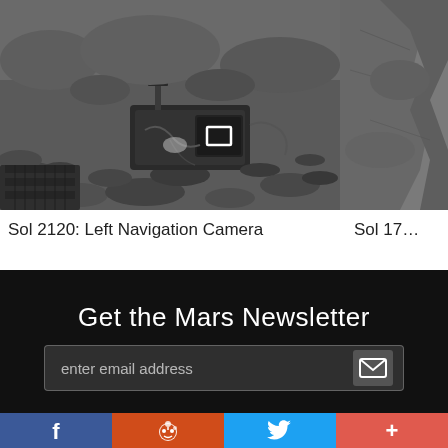[Figure (photo): Black and white photo of Mars Curiosity rover's body/hardware on rocky Martian terrain, taken by Left Navigation Camera on Sol 2120]
[Figure (photo): Black and white partial photo of rocky Martian terrain (right side, partially cropped), Sol 172x]
Sol 2120: Left Navigation Camera
Sol 17…
Get the Mars Newsletter
enter email address